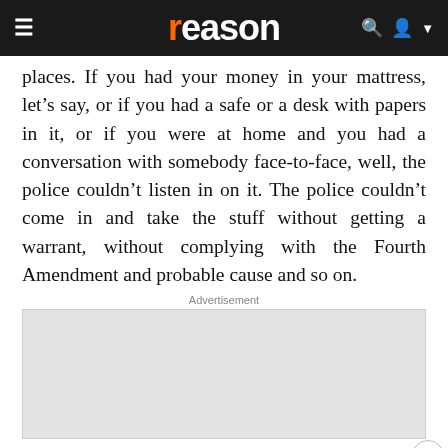reason
places. If you had your money in your mattress, let’s say, or if you had a safe or a desk with papers in it, or if you were at home and you had a conversation with somebody face-to-face, well, the police couldn’t listen in on it. The police couldn’t come in and take the stuff without getting a warrant, without complying with the Fourth Amendment and probable cause and so on.
Advertisement
[Figure (other): Gray advertisement placeholder banner]
All of that broke down with the telephone, because of what happened in a case in 1929. The police tapped somebody’s telephone, and the person had talked on the telephone… the tapping was done outside on the telephone pole where they tapped the line
[Figure (other): Macy's advertisement banner: KISS BORING LIPS GOODBYE with SHOP NOW button and Macy's star logo]